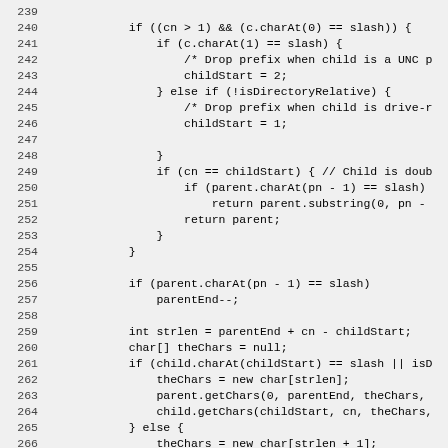[Figure (screenshot): Source code snippet (Java/similar language) showing file path resolution logic, lines 239-268. Lines include conditional checks for UNC paths, drive-relative paths, parent/child string manipulation using charAt, substring, getChars, and char array operations.]